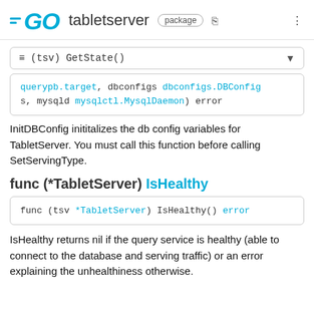GO tabletserver package
≡ (tsv) GetState()
querypb.target, dbconfigs dbconfigs.DBConfigs, mysqld mysqlctl.MysqlDaemon) error
InitDBConfig inititalizes the db config variables for TabletServer. You must call this function before calling SetServingType.
func (*TabletServer) IsHealthy
func (tsv *TabletServer) IsHealthy() error
IsHealthy returns nil if the query service is healthy (able to connect to the database and serving traffic) or an error explaining the unhealthiness otherwise.